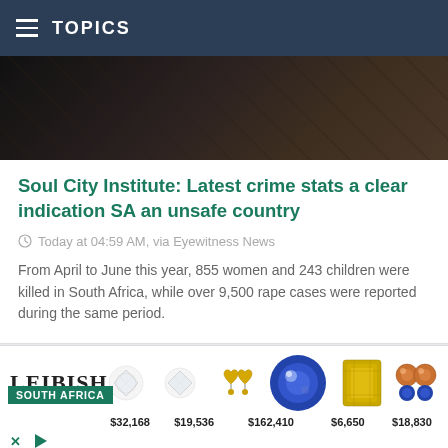TOPICS
[Figure (photo): Dark blurred image used as article hero photo background]
Soul City Institute: Latest crime stats a clear indication SA an unsafe country
Today at 04:59 AM, via Eyewitness News
From April to June this year, 855 women and 243 children were killed in South Africa, while over 9,500 rape cases were reported during the same period.
[Figure (photo): Dramatic sky with electricity pylons and storm clouds for second article (South Africa tag)]
[Figure (photo): Advertisement banner for Leibish jewelry showing gemstones with prices $32,168, $19,536, $162,410, $6,650, $18,830]